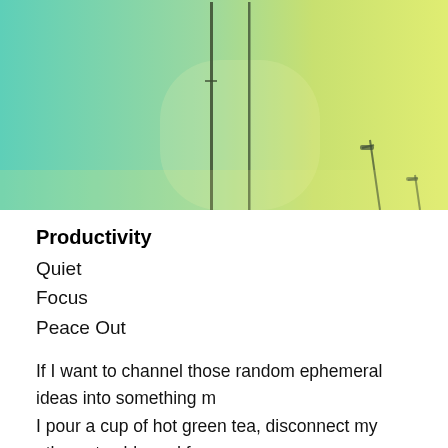[Figure (photo): Outdoor photo of tall lamp posts or poles against a gradient sky transitioning from teal/green at top to yellow-green at bottom. The scene is bright and hazy.]
Productivity
Quiet
Focus
Peace Out
If I want to channel those random ephemeral ideas into something m... I pour a cup of hot green tea, disconnect my ethernet cable and focus... good ten to twenty minutes for me just to settle into enough a flow th... productive. Even then, it is a tenuous state, easily broken by a phone... needs to be done. Temporal real estate is hard to come by, so my pro...